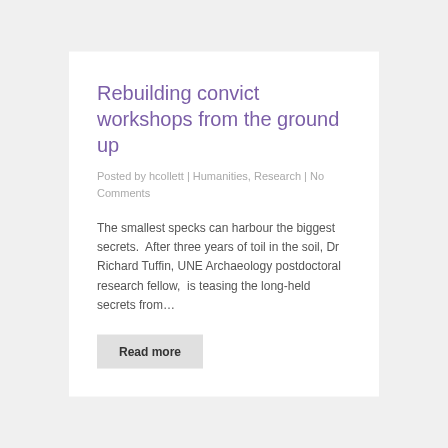Rebuilding convict workshops from the ground up
Posted by hcollett | Humanities, Research | No Comments
The smallest specks can harbour the biggest secrets.  After three years of toil in the soil, Dr Richard Tuffin, UNE Archaeology postdoctoral research fellow,  is teasing the long-held secrets from…
Read more